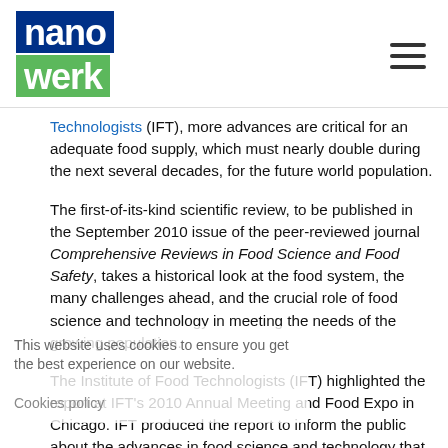nanowerk [logo] [hamburger menu]
Technologists (IFT), more advances are critical for an adequate food supply, which must nearly double during the next several decades, for the future world population.
The first-of-its-kind scientific review, to be published in the September 2010 issue of the peer-reviewed journal Comprehensive Reviews in Food Science and Food Safety, takes a historical look at the food system, the many challenges ahead, and the crucial role of food science and technology in meeting the needs of the growing population.
The Institute of Food Technologists (IFT) highlighted the report at IFT's 2010 Annual Meeting and Food Expo in Chicago. IFT produced the report to inform the public about the advances in food science and technology that were necessary to meet the needs of an evolving society, which today has much greater access to an abundant, diverse food supply that is largely safe, flavorful, nutritious, convenient, and less